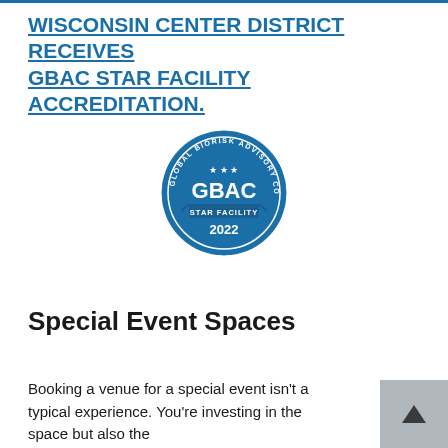WISCONSIN CENTER DISTRICT RECEIVES GBAC STAR FACILITY ACCREDITATION.
[Figure (logo): GBAC STAR Facility 2022 accreditation badge — circular navy blue badge with text 'GLOBAL BIORISK ADVISORY COUNCIL' around the rim, 'GBAC' in large letters in the center, 'STAR FACILITY' on a banner below, and '2022' at the bottom.]
Special Event Spaces
Booking a venue for a special event isn't a typical experience. You're investing in the space but also the